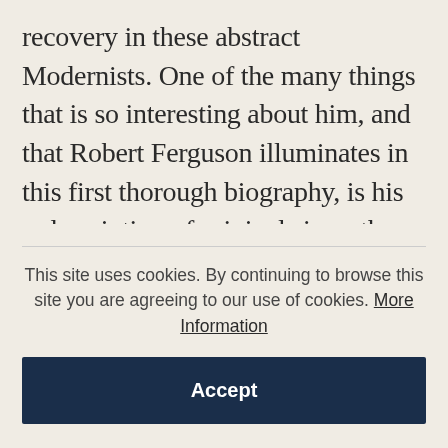recovery in these abstract Modernists. One of the many things that is so interesting about him, and that Robert Ferguson illuminates in this first thorough biography, is his redescription of original sin as the best way of talking about ineluctable human limitations. In his own combative, unacademic way he was trying to work out why original sin, even in its secular versions, was an idea we should not be trying to do without. And clearly no modern writing has yet been able to do without a version of it, whether as something to
This site uses cookies. By continuing to browse this site you are agreeing to our use of cookies. More Information
Accept